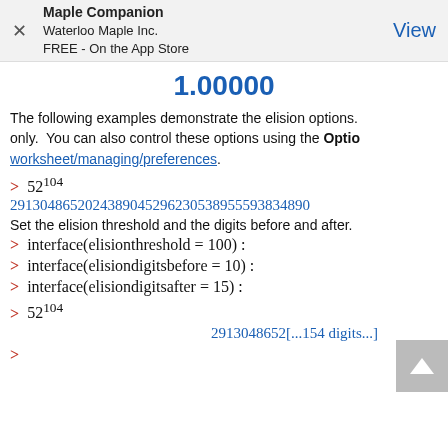Maple Companion
Waterloo Maple Inc.
FREE - On the App Store
View
1.00000
The following examples demonstrate the elision options. only.  You can also control these options using the Options worksheet/managing/preferences.
> 52^104
2913048652024389045296230538955593834890...
Set the elision threshold and the digits before and after.
> interface(elisionthreshold = 100) :
> interface(elisiondigitsbefore = 10) :
> interface(elisiondigitsafter = 15) :
> 52^104
2913048652[...154 digits...]